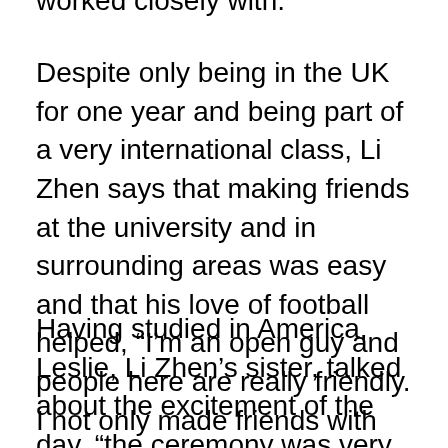worked closely with.
Despite only being in the UK for one year and being part of a very international class, Li Zhen says that making friends at the university and in surrounding areas was easy and that his love of football helped, “I’m an open guy and people here are really friendly. I not only made friends with people from the university but also with some of the locals. I even completed my Level 1 Football Coaching Course at Blackpool.”
Having studied in America, Leslie, Li Zhen’s sister, talked about the excitement of the day, “the ceremony was very different from a Chinese graduation and even the American version. It was nice to experience something so different. We are very proud of him because he has put a lot of effort into his studies and accomplishing his goal. Today is a very important day